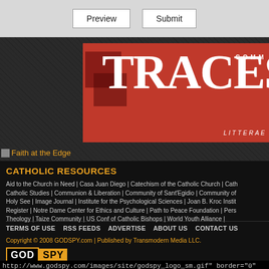[Figure (screenshot): Preview and Submit buttons on light gray background]
[Figure (logo): TRACES magazine banner with red background, white serif text 'TRACES' and 'COMM LITTERAE']
Faith at the Edge
CATHOLIC RESOURCES
Aid to the Church in Need | Casa Juan Diego | Catechism of the Catholic Church | Cath Catholic Studies | Communion & Liberation | Community of Sant'Egidio | Community of Holy See | Image Journal | Institute for the Psychological Sciences | Joan B. Kroc Instit Register | Notre Dame Center for Ethics and Culture | Path to Peace Foundation | Pers Theology | Taize Community | US Conf of Catholic Bishops | World Youth Alliance |
TERMS OF USE   RSS FEEDS   ADVERTISE   ABOUT US   CONTACT US
Copyright © 2008 GODSPY.com | Published by Transmodern Media LLC.
[Figure (logo): GodSpy logo with GOD in black box with orange border and SPY in orange box]
http://www.godspy.com/images/site/godspy_logo_sm.gif" border="0"
alt="GodSpy.com Copyright 20010" /> dy>